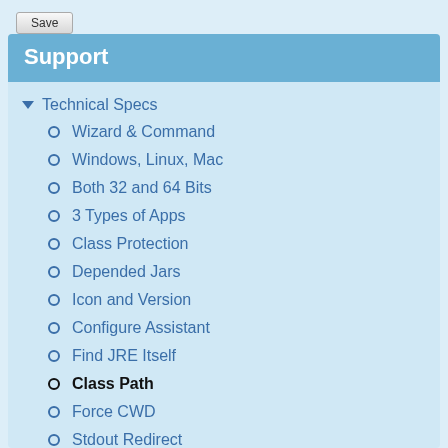Save
Support
Technical Specs
Wizard & Command
Windows, Linux, Mac
Both 32 and 64 Bits
3 Types of Apps
Class Protection
Depended Jars
Icon and Version
Configure Assistant
Find JRE Itself
Class Path
Force CWD
Stdout Redirect
Run as Service
Event Log
System Tray